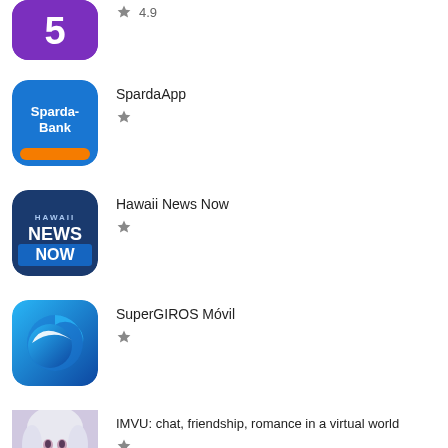[Figure (screenshot): App listing item: purple app icon (partial, top), rating 4.9 stars]
4.9
[Figure (logo): SpardaApp icon - blue background with Sparda-Bank text and orange bar]
SpardaApp
[Figure (logo): Hawaii News Now app icon - dark blue with HAWAII NEWS NOW text]
Hawaii News Now
[Figure (logo): SuperGIROS Móvil app icon - blue gradient with globe/satellite element]
SuperGIROS Móvil
[Figure (photo): IMVU app icon - anime girl with white/silver hair, imvu logo at bottom]
IMVU: chat, friendship, romance in a virtual world